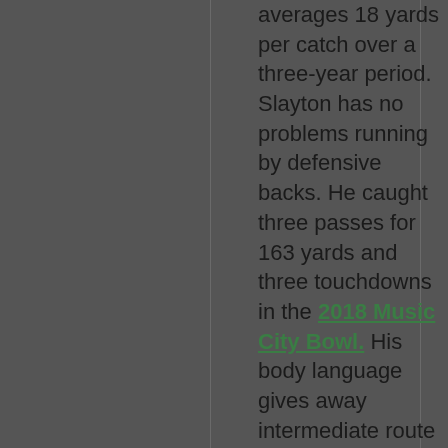averages 18 yards per catch over a three-year period. Slayton has no problems running by defensive backs. He caught three passes for 163 yards and three touchdowns in the 2018 Music City Bowl. His body language gives away intermediate route concepts because he doesn't come off the ball...